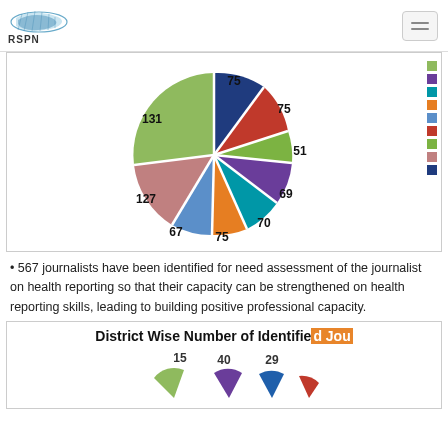RSPN
[Figure (pie-chart): District Wise Number of Journalists]
567 journalists have been identified for need assessment of the journalist on health reporting so that their capacity can be strengthened on health reporting skills, leading to building positive professional capacity.
[Figure (pie-chart): District Wise Number of Identified Journalists]
District Wise Number of Identified Journalists